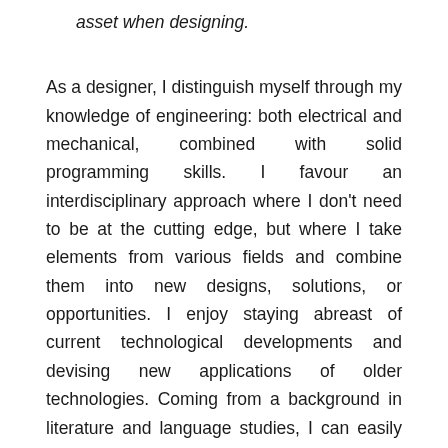asset when designing.
As a designer, I distinguish myself through my knowledge of engineering: both electrical and mechanical, combined with solid programming skills. I favour an interdisciplinary approach where I don't need to be at the cutting edge, but where I take elements from various fields and combine them into new designs, solutions, or opportunities. I enjoy staying abreast of current technological developments and devising new applications of older technologies. Coming from a background in literature and language studies, I can easily absorb new information and communicate with others in speaking and writing. I believe good design sets itself apart because it communicates its state, purpose, or even intent to people. This is how I unite